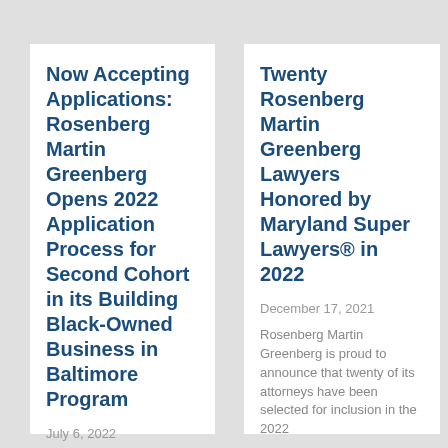Now Accepting Applications: Rosenberg Martin Greenberg Opens 2022 Application Process for Second Cohort in its Building Black-Owned Business in Baltimore Program
July 6, 2022
Twenty Rosenberg Martin Greenberg Lawyers Honored by Maryland Super Lawyers® in 2022
December 17, 2021
Rosenberg Martin Greenberg is proud to announce that twenty of its attorneys have been selected for inclusion in the 2022